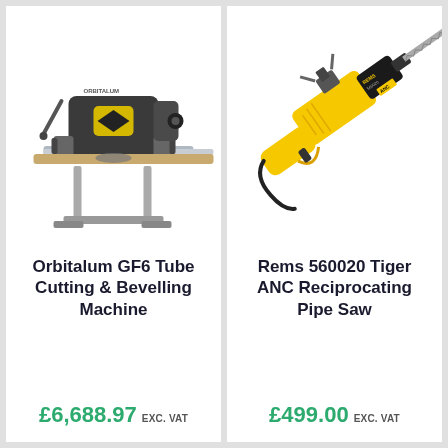[Figure (photo): Orbitalum GF6 Tube Cutting & Bevelling Machine — a large industrial pipe cutting/bevelling machine on a metal stand with blue and yellow/grey coloring]
Orbitalum GF6 Tube Cutting & Bevelling Machine
£6,688.97 exc. VAT
[Figure (photo): Rems 560020 Tiger ANC Reciprocating Pipe Saw — a yellow and black reciprocating saw power tool]
Rems 560020 Tiger ANC Reciprocating Pipe Saw
£499.00 exc. VAT